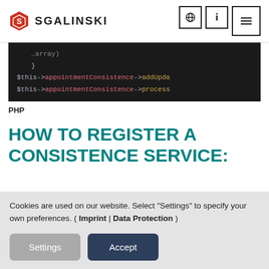SGALINSKI
[Figure (screenshot): PHP code block showing $this->appointmentConsistence->addUpda... and $this->appointmentConsistence->process... methods on dark background]
PHP
HOW TO REGISTER A CONSISTENCE SERVICE:
Cookies are used on our website. Select "Settings" to specify your own preferences. ( Imprint | Data Protection )
Settings | Accept